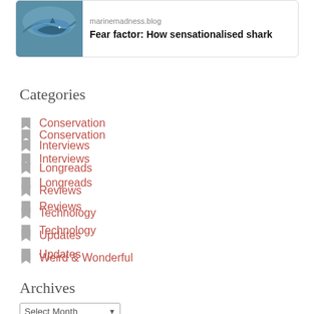[Figure (screenshot): Blog post card with shark/underwater image thumbnail, showing domain 'marinemadness.blog' and title 'Fear factor: How sensationalised shark']
Categories
Conservation
Interviews
Longreads
Reviews
Technology
Updates
Weird & Wonderful
Archives